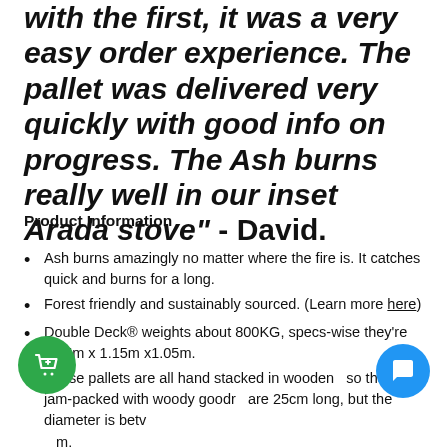with the first, it was a very easy order experience. The pallet was delivered very quickly with good info on progress. The Ash burns really well in our inset Arada stove" - David.
Product Information
Ash burns amazingly no matter where the fire is. It catches quick and burns for a long.
Forest friendly and sustainably sourced. (Learn more here)
Double Deck® weights about 800KG, specs-wise they're 1.65m x 1.15m x1.05m.
These pallets are all hand stacked in wooden so they're jam-packed with woody goodr are 25cm long, but the diameter is betw m.
We keep the moisture levels around 15% or less for